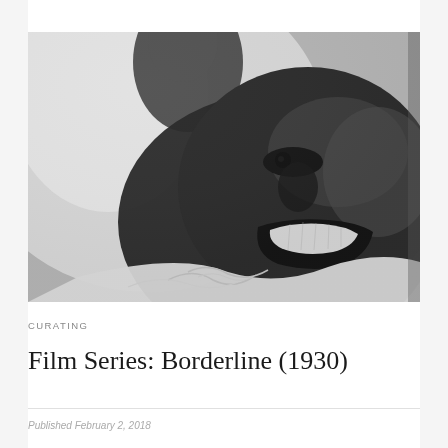[Figure (photo): Black and white close-up photograph of a young Black man laughing with his arm raised, wearing a white ruffled shirt, shot from a low angle.]
CURATING
Film Series: Borderline (1930)
Published February 2, 2018